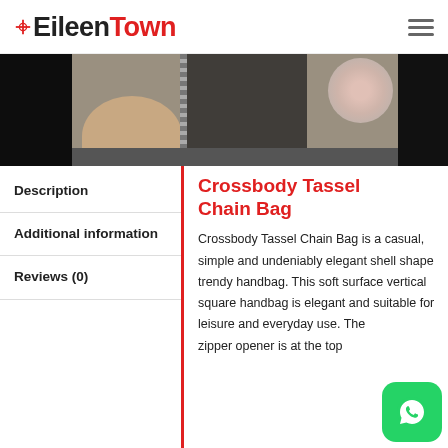EileenTown
[Figure (photo): Hero banner showing a person holding a crossbody chain tassel bag, with a dark background and flowers visible on the right.]
Description
Additional information
Reviews (0)
Crossbody Tassel Chain Bag
Crossbody Tassel Chain Bag is a casual, simple and undeniably elegant shell shape trendy handbag. This soft surface vertical square handbag is elegant and suitable for leisure and everyday use. The zipper opener is at the top